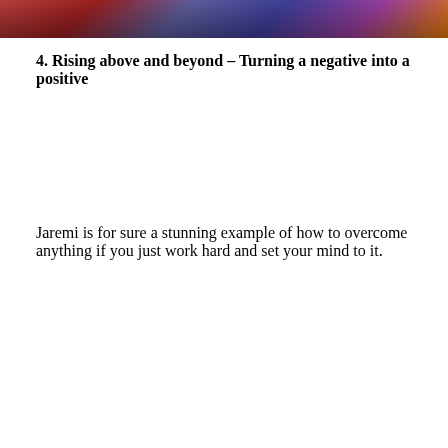[Figure (photo): Partial view of a photo at the top of the page showing colorful background, cropped at top]
4. Rising above and beyond – Turning a negative into a positive
Jaremi is for sure a stunning example of how to overcome anything if you just work hard and set your mind to it.
[Figure (photo): Photo of a man and woman in a dark venue with colorful signage in the background. The man has short blonde hair and is making a kissing face; the woman has dark hair with bangs. A green glowing circle is visible in the background along with pink and blue signage.]